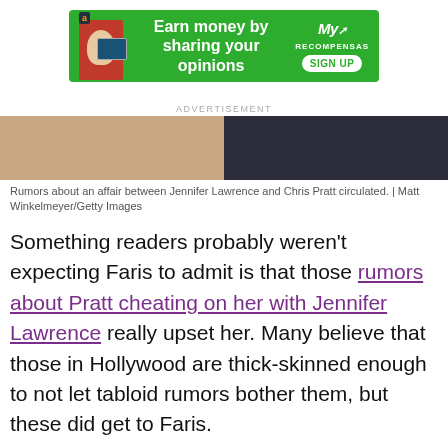[Figure (screenshot): Green advertisement banner: 'Earn money by sharing your opinions' with Amazon logo, person icon, MyRecompensas logo, and SIGN UP button]
ADVERTISEMENT
[Figure (photo): Photo showing two people cropped — left side showing skin/flesh tones, right side showing dark clothing]
Rumors about an affair between Jennifer Lawrence and Chris Pratt circulated. | Matt Winkelmeyer/Getty Images
Something readers probably weren't expecting Faris to admit is that those rumors about Pratt cheating on her with Jennifer Lawrence really upset her. Many believe that those in Hollywood are thick-skinned enough to not let tabloid rumors bother them, but these did get to Faris.